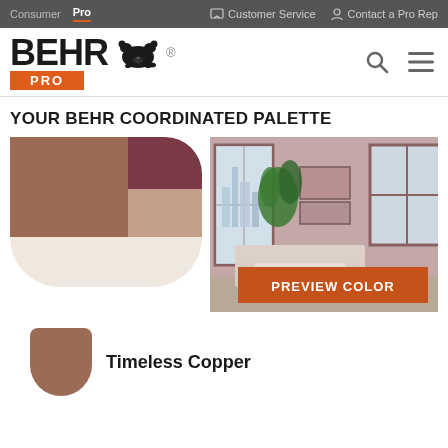Consumer  Pro    Customer Service  Contact a Pro Rep
[Figure (logo): BEHR PRO logo with bear icon]
YOUR BEHR COORDINATED PALETTE
[Figure (illustration): Color palette swatches showing coordinated colors: medium brown/copper, dark burgundy, taupe, and off-white cream]
[Figure (photo): Room scene preview showing a living room painted in dusty rose/mauve tones with a sofa and city view windows, with a PREVIEW COLOR button overlay]
[Figure (illustration): Timeless Copper paint color swatch chip]
Timeless Copper